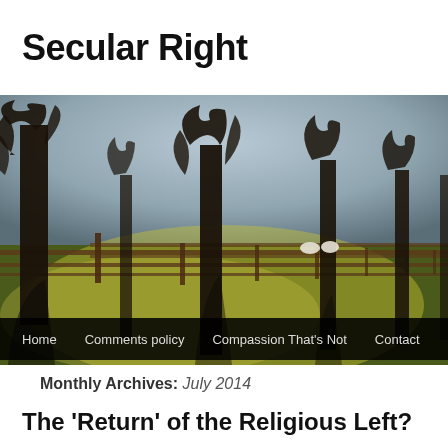Secular Right
[Figure (photo): A countryside scene with large bare trees lining a field with a wooden fence running through it. Sheep are visible in the background in soft morning or afternoon light.]
Home   Comments policy   Compassion That's Not   Contact   Co
Monthly Archives: July 2014
The 'Return' of the Religious Left?